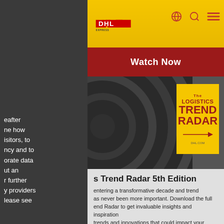[Figure (screenshot): DHL website screenshot showing navigation bar with DHL logo on yellow/gold background, globe icon, search icon, and hamburger menu icon in red]
[Figure (screenshot): Red banner button with text 'Watch Now']
[Figure (photo): Hero image showing dark radar/sonar circles in background with a yellow book cover for 'The Logistics Trend Radar' on the right side]
eafter
ne how
isitors, to
ncy and to
orate data
ut an
r further
y providers
lease see
s Trend Radar 5th Edition
entering a transformative decade and trend
as never been more important. Download the full
end Radar to get invaluable insights and inspiration
trends and innovations that could impact your
the next years.